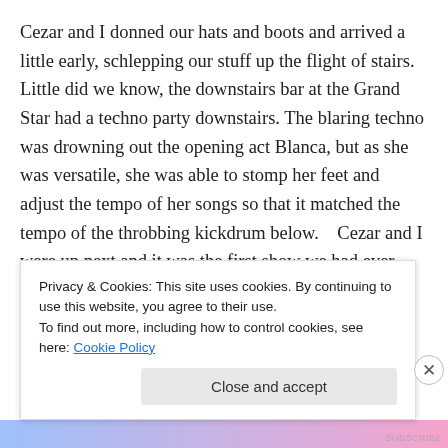Cezar and I donned our hats and boots and arrived a little early, schlepping our stuff up the flight of stairs.  Little did we know, the downstairs bar at the Grand Star had a techno party downstairs. The blaring techno was drowning out the opening act Blanca, but as she was versatile, she was able to stomp her feet and adjust the tempo of her songs so that it matched the tempo of the throbbing kickdrum below.   Cezar and I were up next and it was the first show we had ever played as a two piece.  The techno totally drowned us out and I felt like I had to scream over it. Cezar fell in the...
Privacy & Cookies: This site uses cookies. By continuing to use this website, you agree to their use.
To find out more, including how to control cookies, see here: Cookie Policy
Close and accept